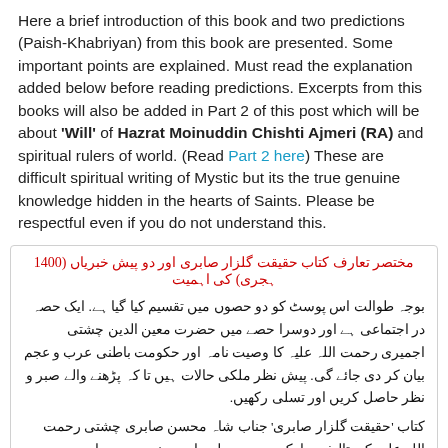Here a brief introduction of this book and two predictions (Paish-Khabriyan) from this book are presented. Some important points are explained. Must read the explanation added below before reading predictions. Excerpts from this books will also be added in Part 2 of this post which will be about 'Will' of Hazrat Moinuddin Chishti Ajmeri (RA) and spiritual rulers of world. (Read Part 2 here) These are difficult spiritual writing of Mystic but its the true genuine knowledge hidden in the hearts of Saints. Please be respectful even if you do not understand this.
مختصر تعارف کتاب حقیقت گلزار صابری اور دو پیش خبریاں (1400 ہجری) کی اہمیت
بوجہ طوالت اس پوسٹ کو دو حصوں میں تقسیم کیا گیا ہے. ایک حصہ در اجتماعی ہے اور دوسرا حصے میں حضرت معین الدین چشتی اجمیری رحمت اللہ علیہ کا وصیت نامہ اور حکومت باطنی عرب و عجم بیان کر دی جائے گی. پیش نظر ملکی حالات ہیں تا کہ پڑھنے والے صبر و نظر حاصل کریں اور تسلی رکھیں.
کتاب 'حقیقت گلزار صابری' جناب شاہ محسن صابری چشتی رحمت اللہ علیہ کی تالیف مبارک ہے. جو پہلی بار حسنی پریس رامپور میں سن 1886ء میں طبع پذیر ہوئی. یہ کتاب 'حضرت سید ناخدرود علی احمد صابر کلیری رحمت اللہ